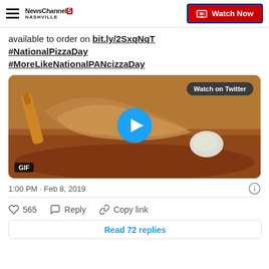NewsChannel 5 NASHVILLE | Watch Now
available to order on bit.ly/2SxqNqT #NationalPizzaDay #MoreLikeNationalPANcizzaDay
[Figure (screenshot): Video thumbnail showing food (pancake/pizza) being cooked, with a play button, GIF badge, and 'Watch on Twitter' button overlay]
1:00 PM · Feb 8, 2019
565  Reply  Copy link
Read 72 replies